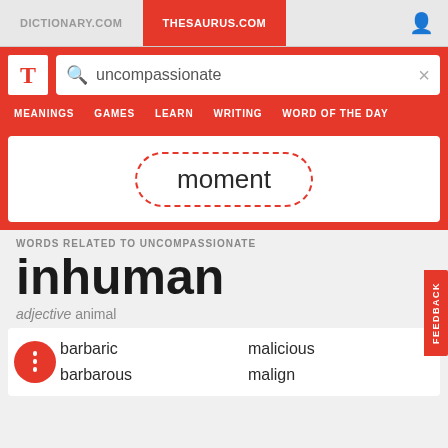DICTIONARY.COM | THESAURUS.COM
uncompassionate
MEANINGS GAMES LEARN WRITING WORD OF THE DAY
[Figure (other): Word bubble with dashed red border containing the word 'moment']
WORDS RELATED TO UNCOMPASSIONATE
inhuman
adjective animal
barbaric
barbarous
malicious
malign